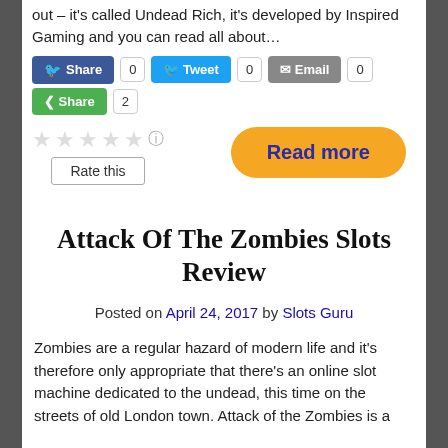out – it's called Undead Rich, it's developed by Inspired Gaming and you can read all about…
Share 0  Tweet 0  Email 0  Share 2
Rate this  [5 stars]   Read more
Attack Of The Zombies Slots Review
Posted on April 24, 2017 by Slots Guru
Zombies are a regular hazard of modern life and it's therefore only appropriate that there's an online slot machine dedicated to the undead, this time on the streets of old London town. Attack of the Zombies is a